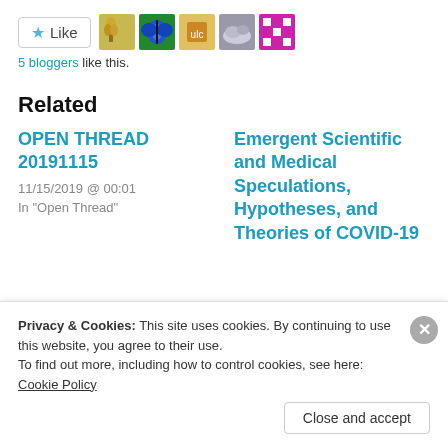[Figure (other): Like button with star icon and 5 blogger avatar thumbnails]
5 bloggers like this.
Related
OPEN THREAD 20191115
11/15/2019 @ 00:01
In "Open Thread"
Emergent Scientific and Medical Speculations, Hypotheses, and Theories of COVID-19
Privacy & Cookies: This site uses cookies. By continuing to use this website, you agree to their use.
To find out more, including how to control cookies, see here: Cookie Policy